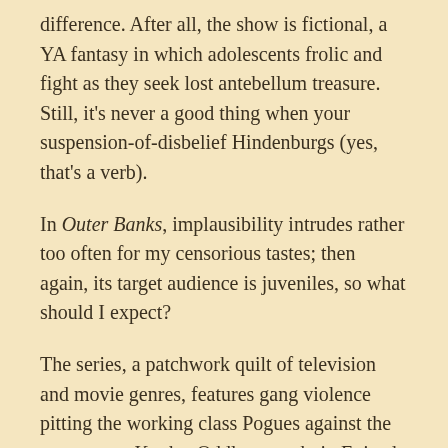difference. After all, the show is fictional, a YA fantasy in which adolescents frolic and fight as they seek lost antebellum treasure. Still, it's never a good thing when your suspension-of-disbelief Hindenburgs (yes, that's a verb).
In Outer Banks, implausibility intrudes rather too often for my censorious tastes; then again, its target audience is juveniles, so what should I expect?
The series, a patchwork quilt of television and movie genres, features gang violence pitting the working class Pogues against the upper crust Kooks. Oddly enough, in Episode One, the slightly built, coke-snorting, Nordic-looking Kook Topper beats the shit out of John B, the Pogue protagonist, a waterman who is much more muscular and physically active than Topper. Picture